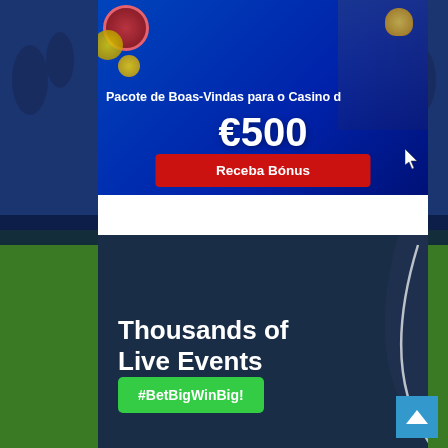[Figure (screenshot): Casino welcome bonus banner with blue background showing game characters, €500 welcome package offer and red 'Receba Bónus' button]
Pacote de Boas-Vindas para o Casino d
€500
Receba Bónus
[Figure (screenshot): Sports betting dark banner with stadium background, 'Thousands of Live Events' text and green #BetBigWinBig! button]
Thousands of Live Events
#BetBigWinBig!